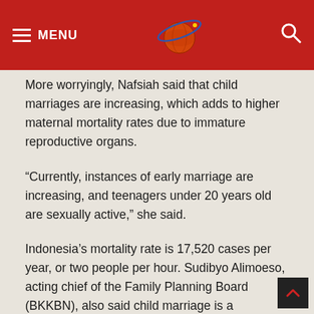MENU
More worryingly, Nafsiah said that child marriages are increasing, which adds to higher maternal mortality rates due to immature reproductive organs.
“Currently, instances of early marriage are increasing, and teenagers under 20 years old are sexually active,” she said.
Indonesia’s mortality rate is 17,520 cases per year, or two people per hour. Sudibyo Alimoeso, acting chief of the Family Planning Board (BKKBN), also said child marriage is a contributing factor to the number.
However the failures of the family planning board are